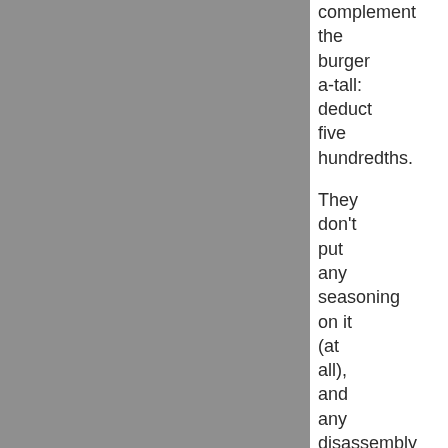[Figure (photo): Gray rectangular panel occupying the left two-thirds of the page]
complement the burger a-tall: deduct five hundredths.

They don't put any seasoning on it (at all), and any disassembly to add salt/pepper has a negative